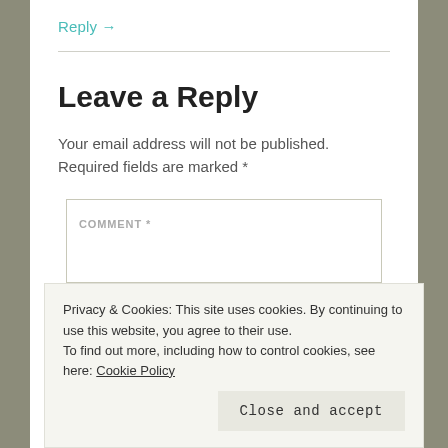Reply →
Leave a Reply
Your email address will not be published. Required fields are marked *
COMMENT *
Privacy & Cookies: This site uses cookies. By continuing to use this website, you agree to their use.
To find out more, including how to control cookies, see here: Cookie Policy
Close and accept